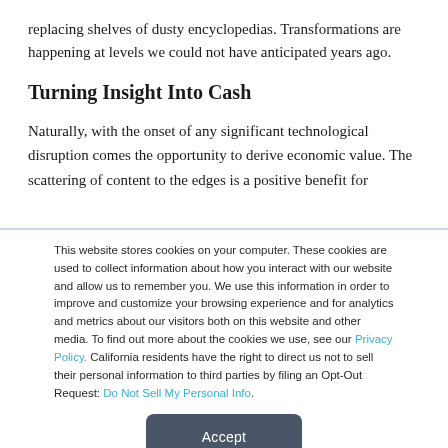replacing shelves of dusty encyclopedias. Transformations are happening at levels we could not have anticipated years ago.
Turning Insight Into Cash
Naturally, with the onset of any significant technological disruption comes the opportunity to derive economic value. The scattering of content to the edges is a positive benefit for
This website stores cookies on your computer. These cookies are used to collect information about how you interact with our website and allow us to remember you. We use this information in order to improve and customize your browsing experience and for analytics and metrics about our visitors both on this website and other media. To find out more about the cookies we use, see our Privacy Policy. California residents have the right to direct us not to sell their personal information to third parties by filing an Opt-Out Request: Do Not Sell My Personal Info.
Accept